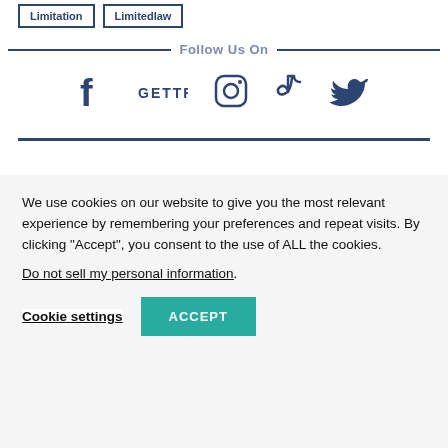Limitation | LimitedIaw
Follow Us On
[Figure (other): Social media icons: Facebook, GETTR, Instagram, TikTok, Twitter arranged horizontally]
We use cookies on our website to give you the most relevant experience by remembering your preferences and repeat visits. By clicking “Accept”, you consent to the use of ALL the cookies.
Do not sell my personal information.
Cookie settings
ACCEPT